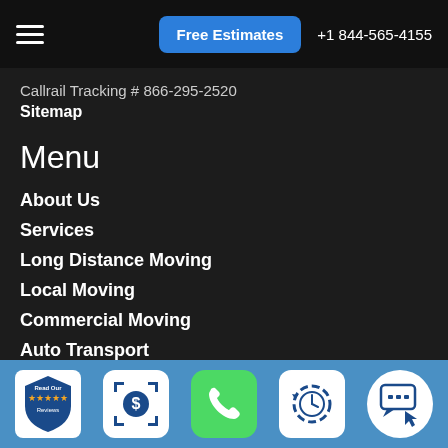Free Estimates  +1 844-565-4155
Callrail Tracking # 866-295-2520
Sitemap
Menu
About Us
Services
Long Distance Moving
Local Moving
Commercial Moving
Auto Transport
Moving Quote is here
Moving Supplies
[Figure (infographic): Bottom navigation bar with five icons: Read Our Reviews badge, dollar sign scanning icon, green phone icon, clock/history icon, and chat bubble with cursor icon]